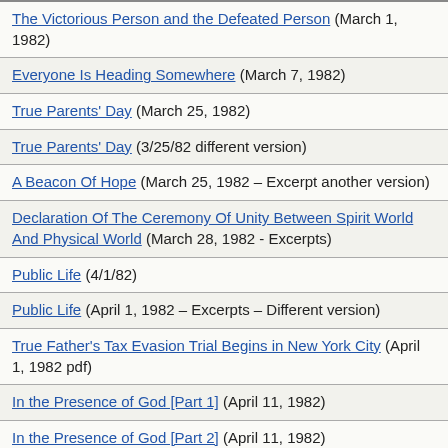The Victorious Person and the Defeated Person (March 1, 1982)
Everyone Is Heading Somewhere (March 7, 1982)
True Parents' Day (March 25, 1982)
True Parents' Day (3/25/82 different version)
A Beacon Of Hope (March 25, 1982 – Excerpt another version)
Declaration Of The Ceremony Of Unity Between Spirit World And Physical World (March 28, 1982 - Excerpts)
Public Life (4/1/82)
Public Life (April 1, 1982 – Excerpts – Different version)
True Father's Tax Evasion Trial Begins in New York City (April 1, 1982 pdf)
In the Presence of God [Part 1] (April 11, 1982)
In the Presence of God [Part 2] (April 11, 1982)
In the Presence of God (April 11, 1982 – Belvedere – complete speech)
God and My Home (April 25, 1982)
Let Us Protect Ourselves (5/1/82)